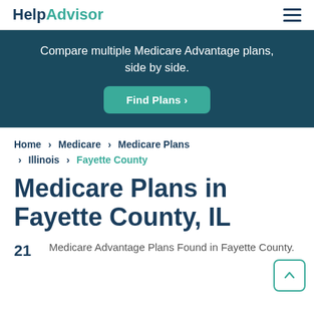HelpAdvisor
Compare multiple Medicare Advantage plans, side by side.
Find Plans >
Home > Medicare > Medicare Plans > Illinois > Fayette County
Medicare Plans in Fayette County, IL
21 Medicare Advantage Plans Found in Fayette County.